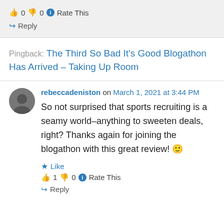👍 0 👎 0 ℹ Rate This
↪ Reply
Pingback: The Third So Bad It's Good Blogathon Has Arrived – Taking Up Room
rebeccadeniston on March 1, 2021 at 3:44 PM
So not surprised that sports recruiting is a seamy world–anything to sweeten deals, right? Thanks again for joining the blogathon with this great review! 🙂
★ Like
👍 1 👎 0 ℹ Rate This
↪ Reply